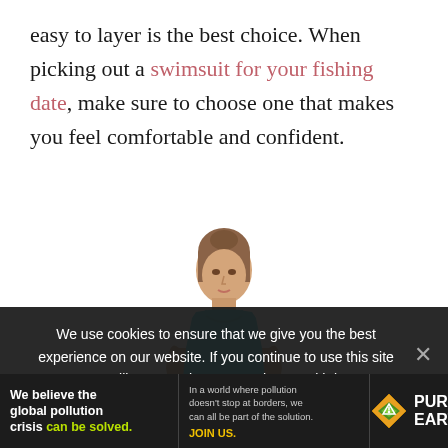easy to layer is the best choice. When picking out a swimsuit for your fishing date, make sure to choose one that makes you feel comfortable and confident.
[Figure (photo): A woman wearing a teal/turquoise one-piece swimsuit, photographed from the waist up against a white background.]
We use cookies to ensure that we give you the best experience on our website. If you continue to use this site we will assume that you are happy with it.
We believe the global pollution crisis can be solved. In a world where pollution doesn't stop at borders, we can all be part of the solution. JOIN US. PURE EARTH